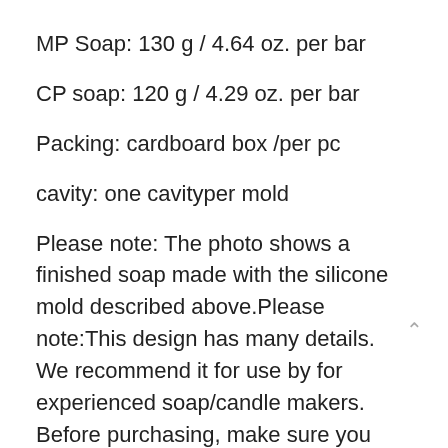MP Soap: 130 g / 4.64 oz. per bar
CP soap: 120 g / 4.29 oz. per bar
Packing: cardboard box /per pc
cavity: one cavityper mold
Please note: The photo shows a finished soap made with the silicone mold described above.Please note:This design has many details. We recommend it for use by for experienced soap/candle makers. Before purchasing, make sure you have the confidence to work with a mold that has such a complex design.Soapmaking
Tips:MP soapmaking is easier than making CP/HP soap. You can use alcohol to help release bubbles that